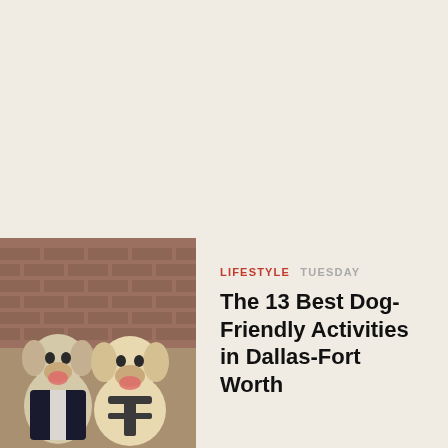[Figure (photo): Two fluffy golden/white dogs sitting side by side in front of a brick wall. The left dog wears a dark suit jacket, the right dog wears a harness. Both have mouths open and are looking upward.]
LIFESTYLE  TUESDAY
The 13 Best Dog-Friendly Activities in Dallas-Fort Worth